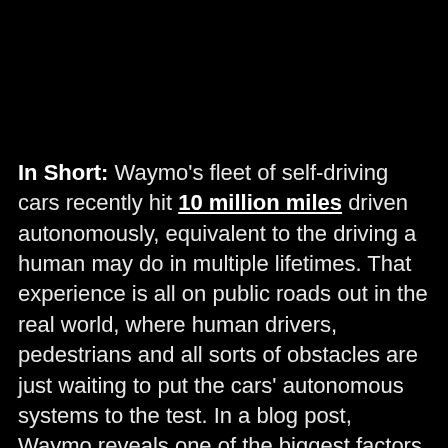In Short: Waymo's fleet of self-driving cars recently hit 10 million miles driven autonomously, equivalent to the driving a human may do in multiple lifetimes. That experience is all on public roads out in the real world, where human drivers, pedestrians and all sorts of obstacles are just waiting to put the cars' autonomous systems to the test. In a blog post, Waymo reveals one of the biggest factors in reaching this milestone relatively safely; simulation. While the cars have taken quite a while to hit 10 million real miles driven, they drive that much just about daily in simulations, which can happen faster than driving in real life, can involve more vehicles